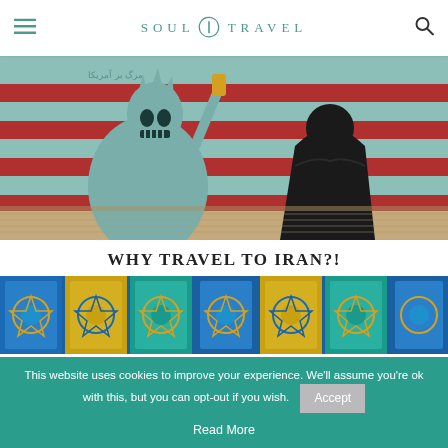SOUL TRAVEL
[Figure (photo): A woman in a black chador walks past an anti-American mural depicting a skull-faced Statue of Liberty in front of a stylized American flag, painted on a wall in Iran.]
WHY TRAVEL TO IRAN?!
[Figure (photo): Colorful blue and gold Islamic geometric tile mosaic patterns on a wall.]
This website uses cookies to improve your experience. We'll assume you're ok with this, but you can opt-out if you wish.
Accept
Read More